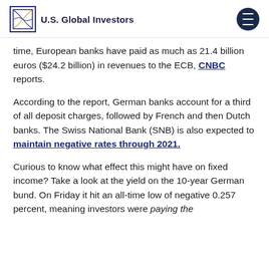U.S. Global Investors
time, European banks have paid as much as 21.4 billion euros ($24.2 billion) in revenues to the ECB, CNBC reports.
According to the report, German banks account for a third of all deposit charges, followed by French and then Dutch banks. The Swiss National Bank (SNB) is also expected to maintain negative rates through 2021.
Curious to know what effect this might have on fixed income? Take a look at the yield on the 10-year German bund. On Friday it hit an all-time low of negative 0.257 percent, meaning investors were paying the